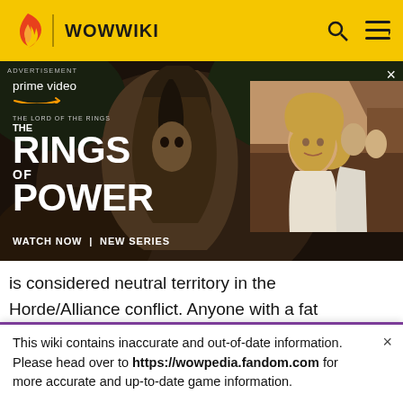WOWWIKI
[Figure (photo): Advertisement banner for Amazon Prime Video's 'The Lord of the Rings: The Rings of Power' showing a hooded figure on left and a blonde woman on right. Text reads: ADVERTISEMENT, prime video, THE LORD OF THE RINGS THE RINGS OF POWER, WATCH NOW | NEW SERIES. Close button (×) at top right.]
is considered neutral territory in the Horde/Alliance conflict. Anyone with a fat wallet or services to offer is welcome in Gadgetzan. Both governments officially recognize goblin neutrality, and for those who don't, the streets are heavily patrolled by goblin bruisers ready to
This wiki contains inaccurate and out-of-date information. Please head over to https://wowpedia.fandom.com for more accurate and up-to-date game information.